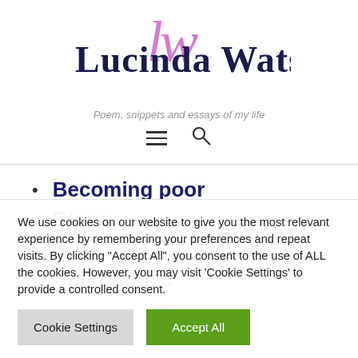Lucinda Watson
Poem, snippets and essays of my life
Becoming poor
Blogs
Boat
Child Abuse
We use cookies on our website to give you the most relevant experience by remembering your preferences and repeat visits. By clicking “Accept All”, you consent to the use of ALL the cookies. However, you may visit 'Cookie Settings' to provide a controlled consent.